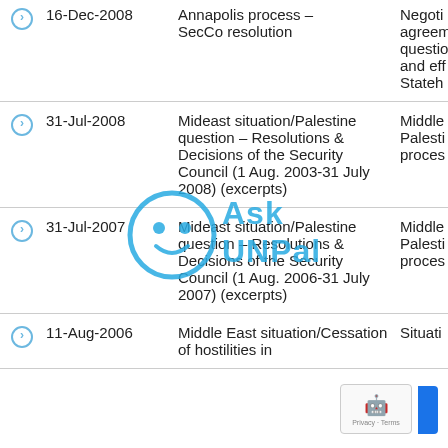|  | Date | Title | Subject |
| --- | --- | --- | --- |
| > | 16-Dec-2008 | Annapolis process – SecCo resolution | Negoti agreement questio and eff Stateh |
| > | 31-Jul-2008 | Mideast situation/Palestine question – Resolutions & Decisions of the Security Council (1 Aug. 2003-31 July 2008) (excerpts) | Middle Palesti proces |
| > | 31-Jul-2007 | Mideast situation/Palestine question – Resolutions & Decisions of the Security Council (1 Aug. 2006-31 July 2007) (excerpts) | Middle Palesti proces |
| > | 11-Aug-2006 | Middle East situation/Cessation of hostilities in | Situati |